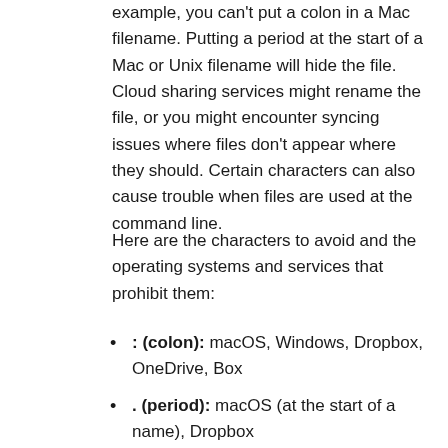example, you can't put a colon in a Mac filename. Putting a period at the start of a Mac or Unix filename will hide the file. Cloud sharing services might rename the file, or you might encounter syncing issues where files don't appear where they should. Certain characters can also cause trouble when files are used at the command line.
Here are the characters to avoid and the operating systems and services that prohibit them:
: (colon): macOS, Windows, Dropbox, OneDrive, Box
. (period): macOS (at the start of a name), Dropbox
/ (forward slash): macOS, Windows, Dropbox, OneDrive, Box